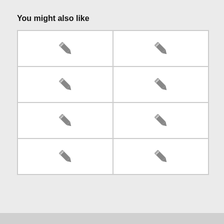You might also like
[Figure (illustration): A 4x2 grid of white cards, each containing a grey pencil icon in the center. The grid is outlined with a light grey border.]